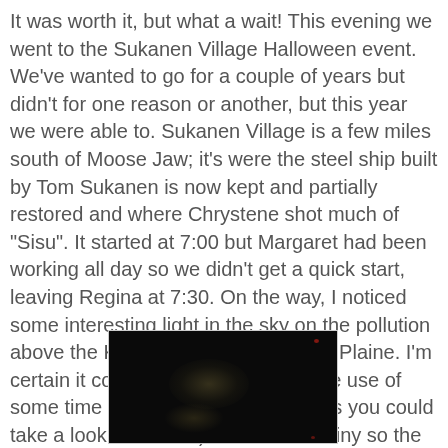It was worth it, but what a wait! This evening we went to the Sukanen Village Halloween event. We've wanted to go for a couple of years but didn't for one reason or another, but this year we were able to. Sukanen Village is a few miles south of Moose Jaw; it's were the steel ship built by Tom Sukanen is now kept and partially restored and where Chrystene shot much of "Sisu". It started at 7:00 but Margaret had been working all day so we didn't get a quick start, leaving Regina at 7:30. On the way, I noticed some interesting light in the sky on the pollution above the Kalium plant outside Belle Plaine. I'm certain it could look very cool with the use of some time exposures (Ryan, perhaps you could take a look sometime). It was a bit rainy so the sky was cloudy; this might have added to the effect. We didn't get much of an image of it, this was just shot by Margaret out the window of the moving car:
[Figure (photo): A very dark, nearly black photo taken out the window of a moving car at night. Faint yellowish-green light glow visible in the center of the image, possibly from industrial lighting. A small red dot is visible in the upper right area.]